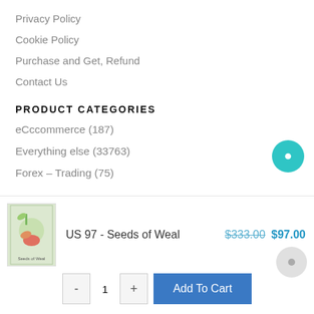Privacy Policy
Cookie Policy
Purchase and Get, Refund
Contact Us
PRODUCT CATEGORIES
eCccommerce (187)
Everything else (33763)
Forex – Trading (75)
US 97 - Seeds of Weal  $333.00 $97.00
- 1 +  Add To Cart